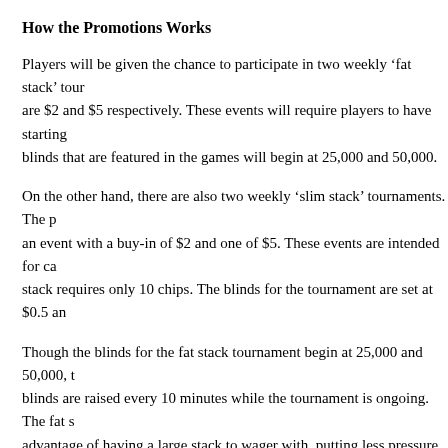How the Promotions Works
Players will be given the chance to participate in two weekly ‘fat stack’ tour are $2 and $5 respectively. These events will require players to have starting blinds that are featured in the games will begin at 25,000 and 50,000.
On the other hand, there are also two weekly ‘slim stack’ tournaments. The p an event with a buy-in of $2 and one of $5. These events are intended for ca stack requires only 10 chips. The blinds for the tournament are set at $0.5 an
Though the blinds for the fat stack tournament begin at 25,000 and 50,000, t blinds are raised every 10 minutes while the tournament is ongoing. The fat s advantage of having a large stack to wager with, putting less pressure on the
However, the slim stack tournament is the best way to test a player’s skills a blinds, which are set at lower amounts, are raised every 2 minutes, ensuring fast moving.
Schedule of the Tournaments
The weekly tournaments are conducted on Fridays. The first event that is hel